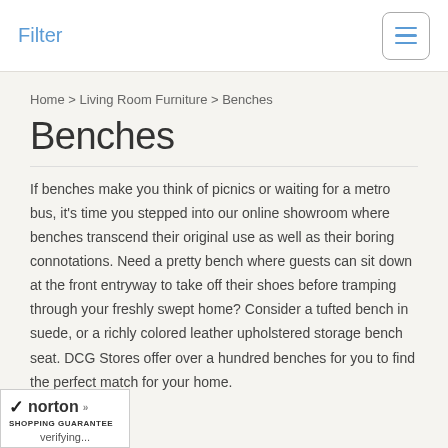Filter
Home > Living Room Furniture > Benches
Benches
If benches make you think of picnics or waiting for a metro bus, it's time you stepped into our online showroom where benches transcend their original use as well as their boring connotations. Need a pretty bench where guests can sit down at the front entryway to take off their shoes before tramping through your freshly swept home? Consider a tufted bench in suede, or a richly colored leather upholstered storage bench seat. DCG Stores offer over a hundred benches for you to find the perfect match for your home.
[Figure (logo): Norton Shopping Guarantee badge with checkmark, verifying text]